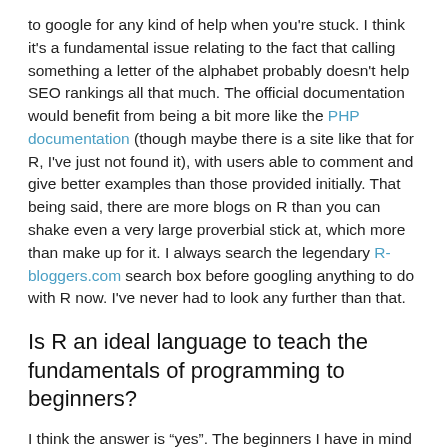to google for any kind of help when you're stuck. I think it's a fundamental issue relating to the fact that calling something a letter of the alphabet probably doesn't help SEO rankings all that much. The official documentation would benefit from being a bit more like the PHP documentation (though maybe there is a site like that for R, I've just not found it), with users able to comment and give better examples than those provided initially. That being said, there are more blogs on R than you can shake even a very large proverbial stick at, which more than make up for it. I always search the legendary R-bloggers.com search box before googling anything to do with R now. I've never had to look any further than that.
Is R an ideal language to teach the fundamentals of programming to beginners?
I think the answer is “yes”. The beginners I have in mind are researchers and have specific needs regarding data processing, and it would benefit them to learn how to run stats in R, opening up future possibilities as well (e.g., LMEs). I’ve not mentioned Matlab, which I know is a favourite for researchers, because (1) it’s a gigantic monster to download and install, (2) I don’t know it that well and (3) it’s prohibitively expensive. I was also tempted to evaluate the use of